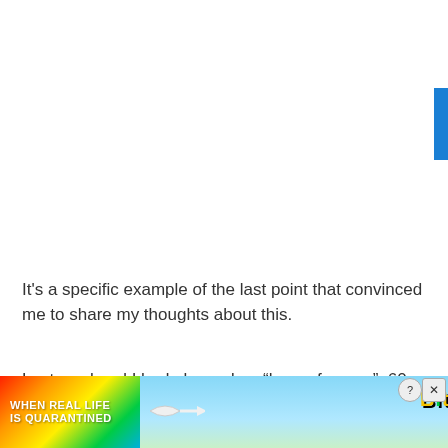[Figure (other): Blue tab/button on right edge, partial UI element]
It's a specific example of the last point that convinced me to share my thoughts about this.
Last weekend I had planned an “hour of power”, 60 minutes close to FTP. This is a hard session but a great way t… includ… nger
[Figure (screenshot): Advertisement banner: BitLife app ad with colorful rainbow background on left showing 'WHEN REAL LIFE IS QUARANTINED' text, and BitLife logo/mascot on right with close/help buttons]